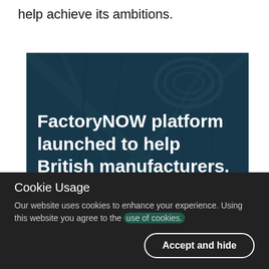help achieve its ambitions.
[Figure (photo): Industrial manufacturing background image with dark blue overlay. Text overlay reads: FactoryNOW platform launched to help British manufacturers.]
Cookie Usage
Our website uses cookies to enhance your experience. Using this website you agree to the use of cookies.
Accept and hide
Most Read